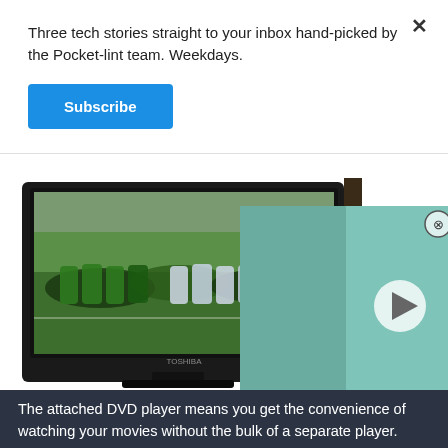Three tech stories straight to your inbox hand-picked by the Pocket-lint team. Weekdays.
Subscribe
[Figure (photo): A Toshiba flat-screen TV displaying a rugby match, with a video thumbnail panel to the right showing a play button]
The attached DVD player means you get the convenience of watching your movies without the bulk of a separate player. Convenient it might be, but the DVD player doesn't make the most of the